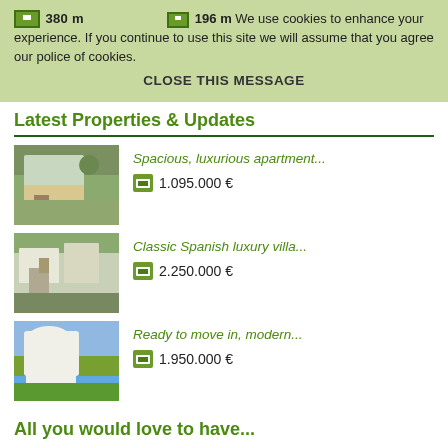We use cookies to enhance your experience. If you continue to use this site we will assume that you agree our police of cookies.
CLOSE THIS MESSAGE
Latest Properties & Updates
Spacious, luxurious apartment...
1.095.000 €
Classic Spanish luxury villa...
2.250.000 €
Ready to move in, modern...
1.950.000 €
All you would love to have...